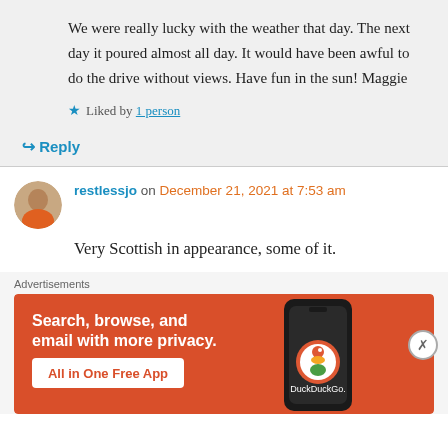We were really lucky with the weather that day. The next day it poured almost all day. It would have been awful to do the drive without views. Have fun in the sun! Maggie
★ Liked by 1 person
↳ Reply
restlessjo on December 21, 2021 at 7:53 am
Very Scottish in appearance, some of it.
Advertisements
[Figure (screenshot): DuckDuckGo advertisement banner with orange background showing 'Search, browse, and email with more privacy. All in One Free App' with a phone graphic and DuckDuckGo logo]